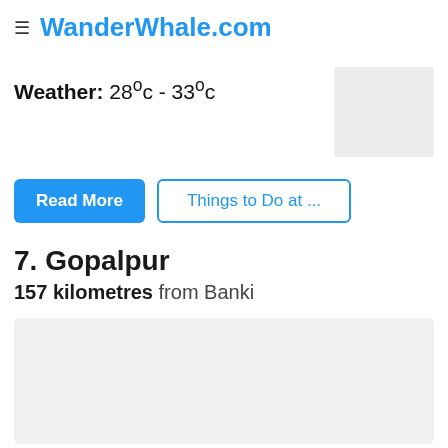≡ WanderWhale.com
Weather: 28°c - 33°c
[Figure (photo): Small image placeholder (light grey box)]
Read More
Things to Do at ...
7. Gopalpur
157 kilometres from Banki
[Figure (photo): Large image placeholder (light grey box)]